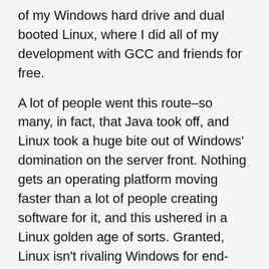of my Windows hard drive and dual booted Linux, where I did all of my development with GCC and friends for free.
A lot of people went this route–so many, in fact, that Java took off, and Linux took a huge bite out of Windows' domination on the server front. Nothing gets an operating platform moving faster than a lot of people creating software for it, and this ushered in a Linux golden age of sorts. Granted, Linux isn't rivaling Windows for end-user desktops by any stretch, but it's a lot more prevalent than it would have been had Microsoft not discouraged developers from writing software to run on its OSs.
Microsoft tacitly recognized its former